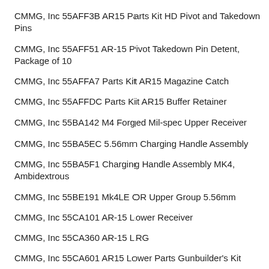CMMG, Inc 55AFF3B AR15 Parts Kit HD Pivot and Takedown Pins
CMMG, Inc 55AFF51 AR-15 Pivot Takedown Pin Detent, Package of 10
CMMG, Inc 55AFFA7 Parts Kit AR15 Magazine Catch
CMMG, Inc 55AFFDC Parts Kit AR15 Buffer Retainer
CMMG, Inc 55BA142 M4 Forged Mil-spec Upper Receiver
CMMG, Inc 55BA5EC 5.56mm Charging Handle Assembly
CMMG, Inc 55BA5F1 Charging Handle Assembly MK4, Ambidextrous
CMMG, Inc 55BE191 Mk4LE OR Upper Group 5.56mm
CMMG, Inc 55CA101 AR-15 Lower Receiver
CMMG, Inc 55CA360 AR-15 LRG
CMMG, Inc 55CA601 AR15 Lower Parts Gunbuilder's Kit
CMMG, Inc 55CA668 AR15 Lower Parts Kit CA
CMMG, Inc 55CA6C5 Lower Parts Kit
CMMG, Inc 55CA6D9 Ambi Safety Kit
CMMG, Inc 55D470B Barrel Sub-Assembly 16.10? LT 4140CM SBN, 5.56mm